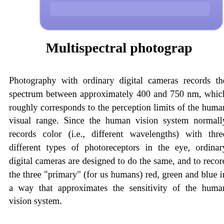[Figure (screenshot): Top portion of a blue/purple rounded rectangular UI element, partially cropped at the top of the page]
Multispectral photography
Photography with ordinary digital cameras records the spectrum between approximately 400 and 750 nm, which roughly corresponds to the perception limits of the human visual range. Since the human vision system normally records color (i.e., different wavelengths) with three different types of photoreceptors in the eye, ordinary digital cameras are designed to do the same, and to record the three "primary" (for us humans) red, green and blue in a way that approximates the sensitivity of the human vision system.